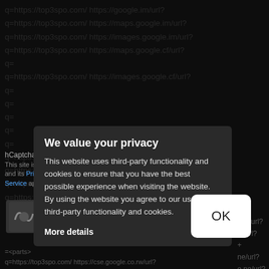q=https://top3spo.com/ https://google.im/url? q=https://top3spo.com/ https://maps.google.im/url? q=https://top3spo.com/ https://images.google.im/url? q=https://top3spo.com/ https://maps.google.cf/url? q= q=https://top3spo.com/ https://images.google.cf/url? q= q= q= q= q= q=https://top3spo.com/ https://images.google.pn/url? q=https://top3spo.com/ https://images.google.tg/url? q=https://top3spo.com/ https://google.tg/url? q=https://top3spo.com/ https://maps.google.tg/url?
We value your privacy
This website uses third-party functionality and cookies to ensure that you have the best possible experience when visiting the website. By using the website you agree to our use of third-party functionality and cookies.
More details
hCaptcha
This site is protected by hCaptcha and its Privacy Policy and Terms of Service apply.
[Figure (logo): hCaptcha logo placeholder]
q=https://top3spo.com/ https://cse.google.co.rw/url?